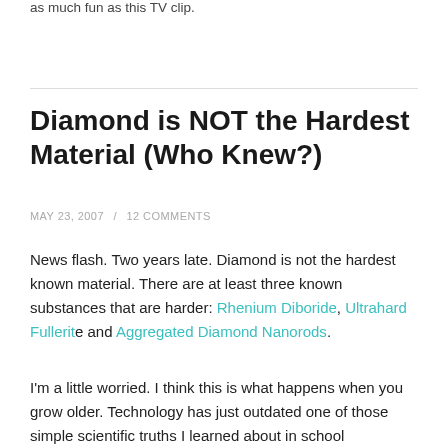as much fun as this TV clip.
Diamond is NOT the Hardest Material (Who Knew?)
MAY 23, 2007  /  12 COMMENTS
News flash. Two years late. Diamond is not the hardest known material. There are at least three known substances that are harder: Rhenium Diboride, Ultrahard Fullerite and Aggregated Diamond Nanorods.
I'm a little worried. I think this is what happens when you grow older. Technology has just outdated one of those simple scientific truths I learned about in school